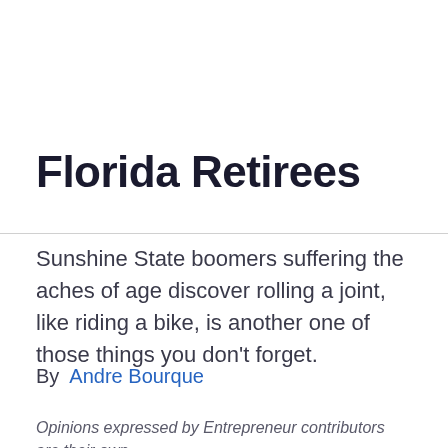Florida Retirees
Sunshine State boomers suffering the aches of age discover rolling a joint, like riding a bike, is another one of those things you don't forget.
By  Andre Bourque
Opinions expressed by Entrepreneur contributors are their own.
Florida voters last November passed a constitutional amendment to legalize the use